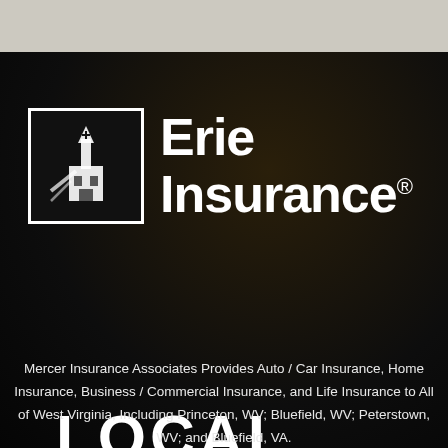[Figure (logo): Erie Insurance local agent sign — Erie Insurance logo (bordered icon with steeple/building graphic and 'Erie Insurance' text) above 'LOCAL AGENT' banner, on dark background]
Mercer Insurance Associates Provides Auto / Car Insurance, Home Insurance, Business / Commercial Insurance, and Life Insurance to All of West Virginia, Including Princeton, WV; Bluefield, WV; Peterstown, WV; and Bluefield, VA.